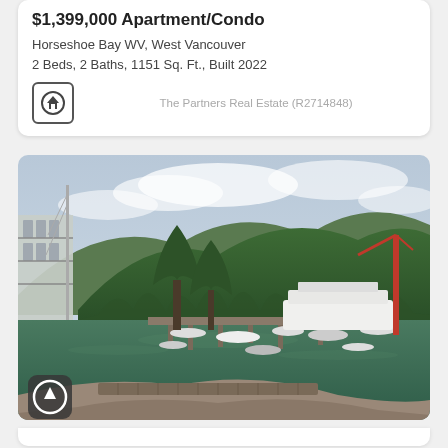$1,399,000 Apartment/Condo
Horseshoe Bay WV, West Vancouver
2 Beds, 2 Baths, 1151 Sq. Ft., Built 2022
The Partners Real Estate (R2714848)
[Figure (photo): Aerial view of Horseshoe Bay marina with boats, green forested mountains in background, modern building at left edge, dock walkway in foreground, ferry terminal visible in center-right.]